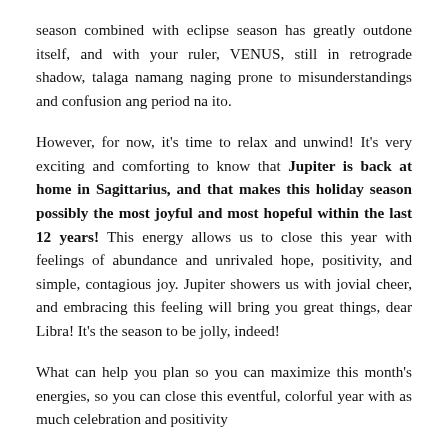season combined with eclipse season has greatly outdone itself, and with your ruler, VENUS, still in retrograde shadow, talaga namang naging prone to misunderstandings and confusion ang period na ito.
However, for now, it's time to relax and unwind! It's very exciting and comforting to know that Jupiter is back at home in Sagittarius, and that makes this holiday season possibly the most joyful and most hopeful within the last 12 years! This energy allows us to close this year with feelings of abundance and unrivaled hope, positivity, and simple, contagious joy. Jupiter showers us with jovial cheer, and embracing this feeling will bring you great things, dear Libra! It's the season to be jolly, indeed!
What can help you plan so you can maximize this month's energies, so you can close this eventful, colorful year with as much celebration and positivity